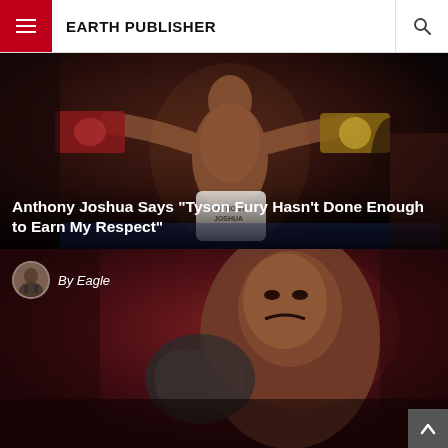EARTH PUBLISHER
[Figure (photo): Anthony Joshua celebrating a boxing victory in the ring, shirtless, arms wide open, championship belts visible around him, arena crowd in background]
Anthony Joshua Says “Tyson Fury Hasn’t Done Enough to Earn My Respect”
[Figure (photo): By Eagle - author avatar photo of a man in suit, followed by a dark red/maroon toned photo of a boxer grimacing or celebrating intensely]